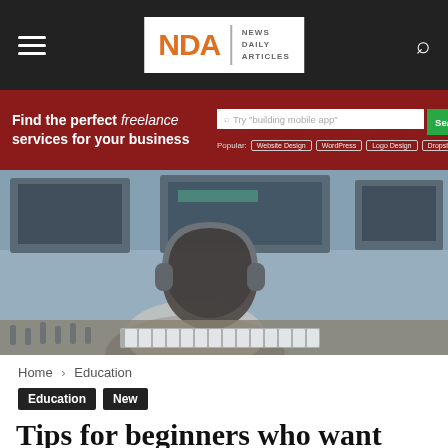NDA | NEWS DAILY ARTICLES
[Figure (infographic): Red banner advertisement: Find the perfect freelance services for your business, with search input, Search button, and popular tags: Website Design, WordPress, Logo Design, Dropshipping]
[Figure (photo): Person wearing headphones sitting at a music production studio with multiple screens and mixing console]
Home › Education
Education  New
Tips for beginners who want